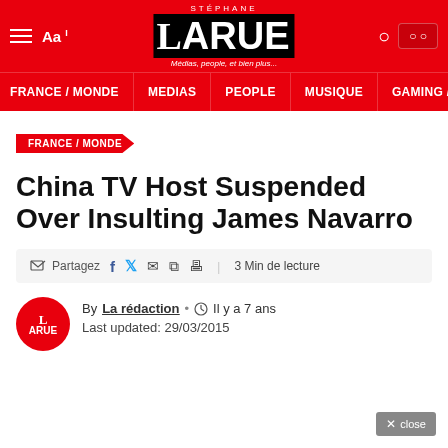STEPHANE LARUE — Médias, people, et bien plus… [navigation: FRANCE/MONDE, MEDIAS, PEOPLE, MUSIQUE, GAMING/]
FRANCE / MONDE
China TV Host Suspended Over Insulting James Navarro
Partagez  |  3 Min de lecture
By La rédaction • Il y a 7 ans
Last updated: 29/03/2015